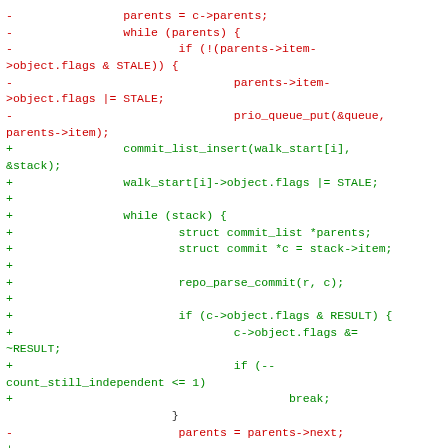[Figure (other): Code diff showing removed lines (red, prefixed with -) and added lines (green, prefixed with +) in a C source file. The diff shows changes to commit traversal logic, replacing a parents-based iteration with a stack-based approach using commit_list_insert, walk_start, and commit_graph_generation.]